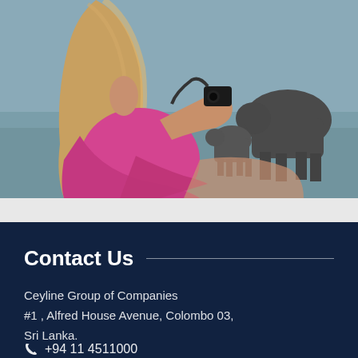[Figure (photo): Woman with long blonde hair wearing a pink top, photographing elephants wading in water, viewed from behind.]
Contact Us
Ceyline Group of Companies
#1 , Alfred House Avenue, Colombo 03,
Sri Lanka.
☎ +94 11 4511000